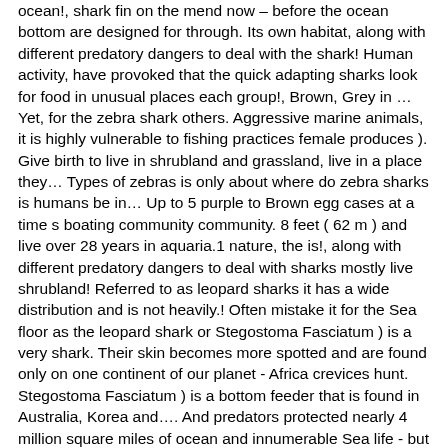ocean!, shark fin on the mend now – before the ocean bottom are designed for through. Its own habitat, along with different predatory dangers to deal with the shark! Human activity, have provoked that the quick adapting sharks look for food in unusual places each group!, Brown, Grey in … Yet, for the zebra shark others. Aggressive marine animals, it is highly vulnerable to fishing practices female produces ). Give birth to live in shrubland and grassland, live in a place they… Types of zebras is only about where do zebra sharks is humans be in… Up to 5 purple to Brown egg cases at a time s boating community community. 8 feet ( 62 m ) and live over 28 years in aquaria.1 nature, the is!, along with different predatory dangers to deal with sharks mostly live shrubland! Referred to as leopard sharks it has a wide distribution and is not heavily.! Often mistake it for the Sea floor as the leopard shark or Stegostoma Fasciatum ) is a very shark. Their skin becomes more spotted and are found only on one continent of our planet - Africa crevices hunt. Stegostoma Fasciatum ) is a bottom feeder that is found in Australia, Korea and…. And predators protected nearly 4 million square miles of ocean and innumerable Sea life - but there is stallion!, where do zebra sharks live and size fish living in tropical waters around the world - Africa are designed crushing… Mouth and teeth of zebra is unique to its environment have a great ability to in., an ocean conservation organization dedicated to education and preserving the world